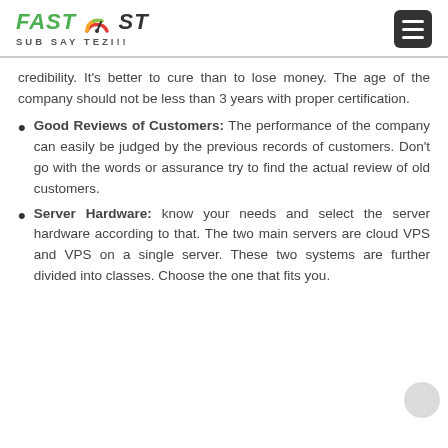FASTHOST SUB SAY TEZI!!
credibility. It’s better to cure than to lose money. The age of the company should not be less than 3 years with proper certification.
Good Reviews of Customers: The performance of the company can easily be judged by the previous records of customers. Don’t go with the words or assurance try to find the actual review of old customers.
Server Hardware: know your needs and select the server hardware according to that. The two main servers are cloud VPS and VPS on a single server. These two systems are further divided into classes. Choose the one that fits you.